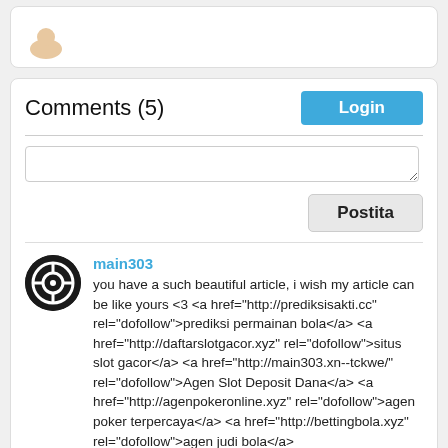Comments (5)
Login
Postita
main303
you have a such beautiful article, i wish my article can be like yours <3 <a href="http://prediksisakti.cc" rel="dofollow">prediksi permainan bola</a> <a href="http://daftarslotgacor.xyz" rel="dofollow">situs slot gacor</a> <a href="http://main303.xn--tckwe/" rel="dofollow">Agen Slot Deposit Dana</a> <a href="http://agenpokeronline.xyz" rel="dofollow">agen poker terpercaya</a> <a href="http://bettingbola.xyz" rel="dofollow">agen judi bola</a>
03:51, 18 August 2022
polard